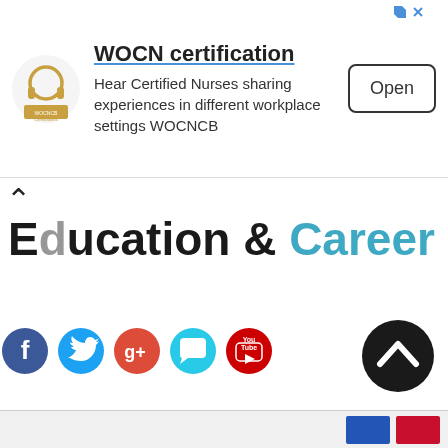[Figure (screenshot): Advertisement banner for WOCN certification app. Shows WOCNCB logo on left, title 'WOCN certification', description text 'Hear Certified Nurses sharing experiences in different workplace settings WOCNCB', and an 'Open' button on the right. Has ad dismiss icons in top right corner.]
Education & Career
[Figure (infographic): Row of social media share icons: Facebook (blue circle with f), Twitter (cyan circle with bird), Google+ (red circle with g+), Chat/Comments (cyan speech bubble), YouTube (red circle with YouTube logo)]
[Figure (infographic): Dark circular scroll-to-top button with upward chevron arrow, positioned bottom right]